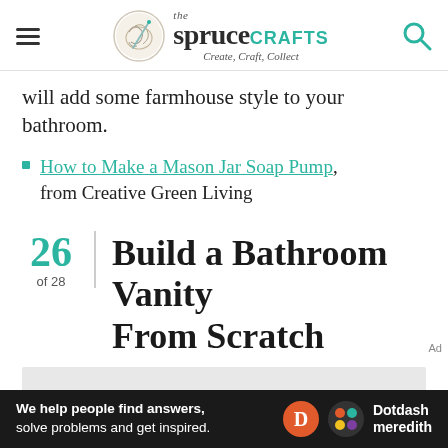the spruce CRAFTS — Create, Craft, Collect
will add some farmhouse style to your bathroom.
How to Make a Mason Jar Soap Pump, from Creative Green Living
26 of 28 — Build a Bathroom Vanity From Scratch
[Figure (photo): Gray placeholder image area for item 26]
We help people find answers, solve problems and get inspired. — Dotdash meredith